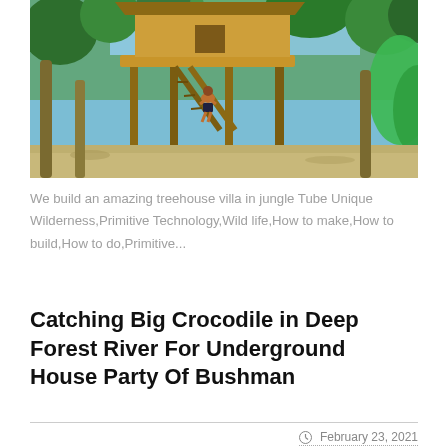[Figure (photo): A treehouse villa built high on stilts in a jungle setting. Tall palm and tropical trees surround a wooden structure elevated on bamboo/wooden poles. A person in black shorts climbs a log ladder up to the platform. Sandy ground below, blue sky visible through canopy, lush green foliage in foreground and background.]
We build an amazing treehouse villa in jungle Tube Unique Wilderness,Primitive Technology,Wild life,How to make,How to build,How to do,Primitive...
Catching Big Crocodile in Deep Forest River For Underground House Party Of Bushman
February 23, 2021